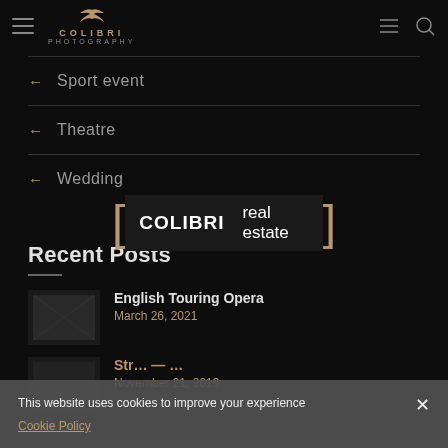COLIBRI PHOTOGRAPHY
← Sport event
← Theatre
← Wedding
[Figure (other): COLIBRI real estate overlay banner with gold brackets]
Recent Posts
English Touring Opera — March 26, 2021
November 21, 2019
This website uses cookies to improve your experience
Cookie Policy